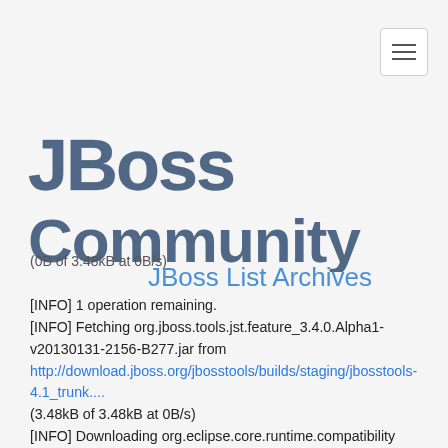JBoss Community
(0B of 3.48kB at 0B/s)
JBoss List Archives
[INFO] 1 operation remaining.
[INFO] Fetching org.jboss.tools.jst.feature_3.4.0.Alpha1-v20130131-2156-B277.jar from http://download.jboss.org/jbosstools/builds/staging/jbosstools-4.1_trunk....
(3.48kB of 3.48kB at 0B/s)
[INFO] Downloading org.eclipse.core.runtime.compatibility
[INFO] Downloading org.eclipse.wst.common.snippets
[INFO] Downloading org.eclipse.wst.common_core.feature
[INFO] Downloading org.eclipse.wst.common.infopop
[INFO] Downloading org.eclipse.wst.internet.cache
[INFO] Downloading org.eclipse.wst.validation.infopop
[INFO] Downloading org.eclipse.wst.common_ui.feature
[INFO] Loading repository 'http://download.jboss.org/jbosstools/targetplatforms/jbosstoolstarget/4.30.0.Alpha1-SNAPSHOT/REPO'